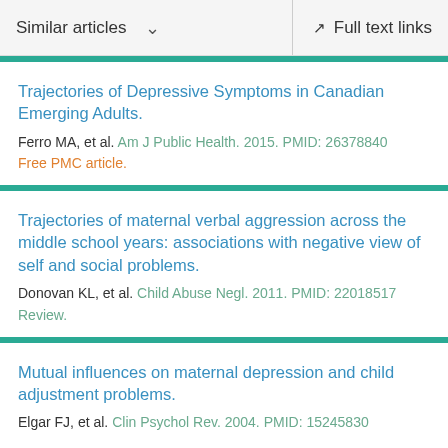Similar articles  ∨    Full text links
Trajectories of Depressive Symptoms in Canadian Emerging Adults.
Ferro MA, et al. Am J Public Health. 2015. PMID: 26378840
Free PMC article.
Trajectories of maternal verbal aggression across the middle school years: associations with negative view of self and social problems.
Donovan KL, et al. Child Abuse Negl. 2011. PMID: 22018517
Review.
Mutual influences on maternal depression and child adjustment problems.
Elgar FJ, et al. Clin Psychol Rev. 2004. PMID: 15245830